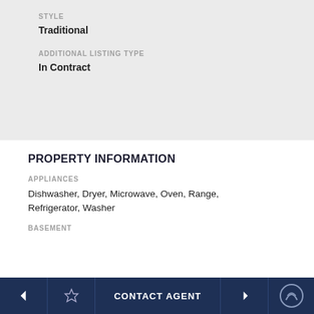STYLE
Traditional
ADDITIONAL LISTING TYPE
In Contract
PROPERTY INFORMATION
APPLIANCES
Dishwasher, Dryer, Microwave, Oven, Range, Refrigerator, Washer
BASEMENT
CONTACT AGENT